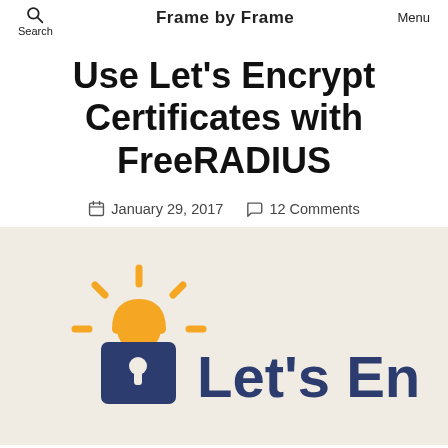Search  Frame by Frame  Menu
Use Let's Encrypt Certificates with FreeRADIUS
January 29, 2017   12 Comments
[Figure (logo): Let's Encrypt logo: a padlock icon with orange sun rays behind it, next to the text 'Let's Encrypt' in dark navy bold font, on a beige/off-white background.]